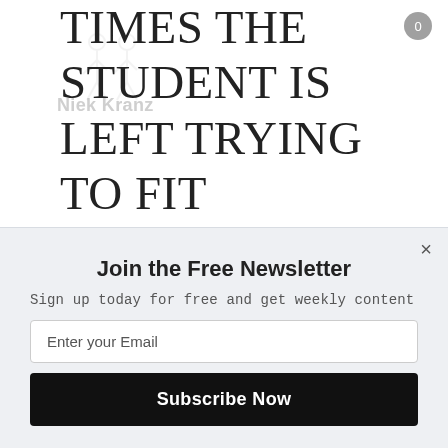TIMES THE STUDENT IS LEFT TRYING TO FIT THEMSELVES INTO THE NEXT STEP PRESENTED IN THIS LINEAR APPROACH. IN OUR LEARNER-CENTRIC APPROACH, WE PRESENT
[Figure (illustration): Faint watermark illustration of two people (figures) with text 'Niek Kranz' below, used as a logo/watermark overlay on the text content]
Join the Free Newsletter
Sign up today for free and get weekly content
Enter your Email
Subscribe Now